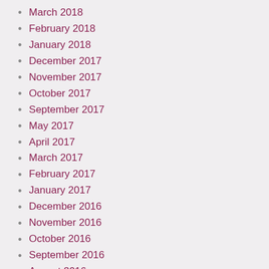March 2018
February 2018
January 2018
December 2017
November 2017
October 2017
September 2017
May 2017
April 2017
March 2017
February 2017
January 2017
December 2016
November 2016
October 2016
September 2016
August 2016
July 2016
June 2016
May 2016